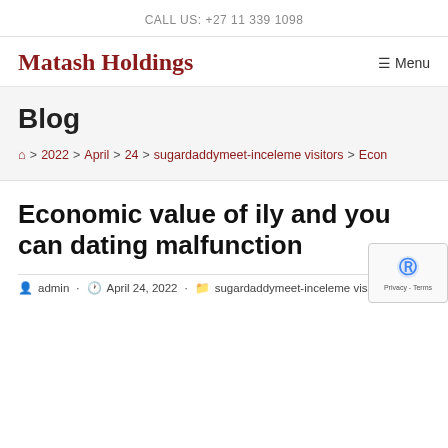CALL US: +27 11 339 1098
Matash Holdings
Blog
Home > 2022 > April > 24 > sugardaddymeet-inceleme visitors > Econ
Economic value of ily and you can dating malfunction
admin · April 24, 2022 · sugardaddymeet-inceleme visitors –